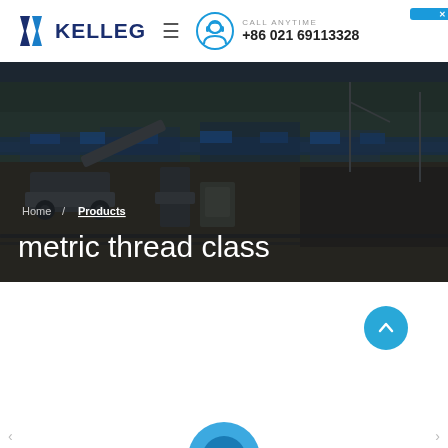KELLEG | CALL ANYTIME +86 021 69113328
[Figure (screenshot): Construction site hero image showing heavy machinery and equipment in a large outdoor excavation site, dark overlay applied]
Home / Products
metric thread class
[Figure (other): Scroll-to-top circular blue button with upward arrow]
[Figure (other): Partially visible product image at bottom of page]